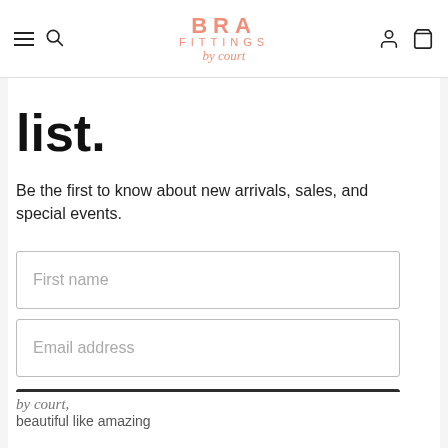BRA FITTINGS by court — navigation header with hamburger menu, search, account, and cart icons
list.
Be the first to know about new arrivals, sales, and special events.
First name (input field)
Email address (input field)
Subscribe